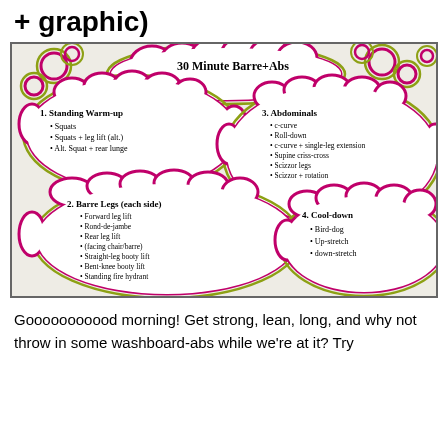+ graphic)
[Figure (illustration): Hand-drawn whiteboard showing a 30 Minute Barre+Abs workout plan with 4 cloud-shaped sections: 1. Standing Warm-up (Squats, Squats+leg lift alt, Alt. Squat+rear lunge), 2. Barre Legs each side (Forward leg lift, Rond-de-jambe, Rear leg lift, facing chair/barre, Straight-leg booty lift, Bent-knee booty lift, Standing fire hydrant), 3. Abdominals (c-curve, Roll-down, c-curve+single-leg extension, Supine criss-cross, Scizzor legs, Scizzor+rotation), 4. Cool-down (Bird-dog, Up-stretch, down-stretch). Decorative circles with purple and yellow-green outlines surround the title.]
Gooooooooood morning! Get strong, lean, long, and why not throw in some washboard-abs while we're at it? Try